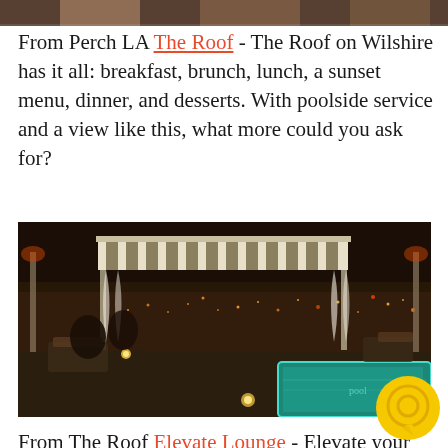[Figure (photo): Partial top strip of a photo, cropped at the top of the page]
From Perch LA The Roof - The Roof on Wilshire has it all: breakfast, brunch, lunch, a sunset menu, dinner, and desserts. With poolside service and a view like this, what more could you ask for?
[Figure (photo): Nighttime rooftop bar/lounge photo showing a pool, cabanas with striped awnings, city lights in the background, ambient lighting with candles and heaters, people seated at tables]
From The Roof Elevate Lounge - Elevate your perfect night-on-the-town experience with room for dancing, modern